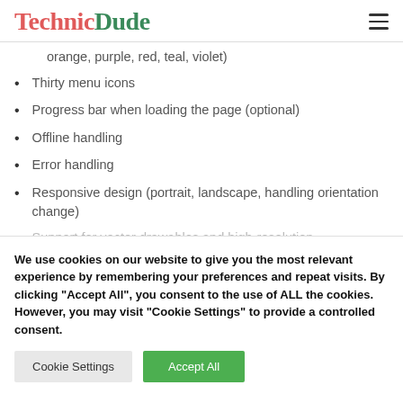TechnicDude
orange, purple, red, teal, violet)
Thirty menu icons
Progress bar when loading the page (optional)
Offline handling
Error handling
Responsive design (portrait, landscape, handling orientation change)
Support for vector drawables and high-resolution
We use cookies on our website to give you the most relevant experience by remembering your preferences and repeat visits. By clicking "Accept All", you consent to the use of ALL the cookies. However, you may visit "Cookie Settings" to provide a controlled consent.
Cookie Settings | Accept All